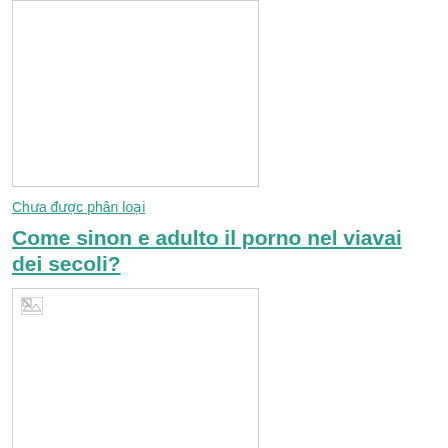[Figure (photo): Placeholder image with broken image icon, first article]
Chưa được phân loại
Come sinon e adulto il porno nel viavai dei secoli?
[Figure (photo): Placeholder image with broken image icon, second article]
Chưa được phân loại
David Duchovny Into the Composing 'The Reservoir,' Conspiracies, The Knicks, Whilst still being Getting Aggravated From the Michael jordan's 'Bullshit Discourse'